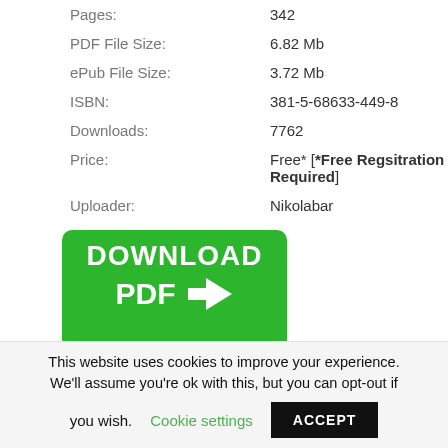| Pages: | 342 |
| PDF File Size: | 6.82 Mb |
| ePub File Size: | 3.72 Mb |
| ISBN: | 381-5-68633-449-8 |
| Downloads: | 7762 |
| Price: | Free* [*Free Regsitration Required] |
| Uploader: | Nikolabar |
[Figure (illustration): Green rounded-rectangle download button with white bold text 'DOWNLOAD' on top line and 'PDF' with a right-pointing arrow on the bottom line.]
This website uses cookies to improve your experience. We'll assume you're ok with this, but you can opt-out if you wish. Cookie settings ACCEPT